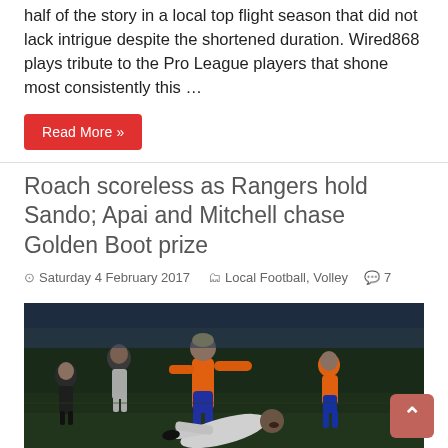half of the story in a local top flight season that did not lack intrigue despite the shortened duration. Wired868 plays tribute to the Pro League players that shone most consistently this …
Read More »
Roach scoreless as Rangers hold Sando; Apai and Mitchell chase Golden Boot prize
Saturday 4 February 2017   Local Football, Volley   7
[Figure (photo): Football match action photo showing players in orange and white kits competing on a dark pitch, one player sliding on the ground]